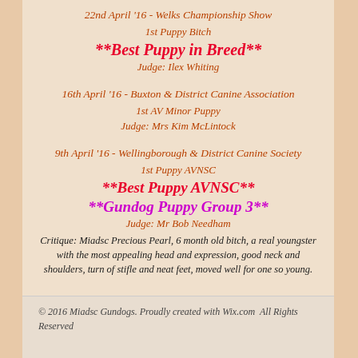22nd April '16 - Welks Championship Show
1st Puppy Bitch
**Best Puppy in Breed**
Judge: Ilex Whiting
16th April '16 - Buxton & District Canine Association
1st AV Minor Puppy
Judge: Mrs Kim McLintock
9th April '16 - Wellingborough & District Canine Society
1st Puppy AVNSC
**Best Puppy AVNSC**
**Gundog Puppy Group 3**
Judge: Mr Bob Needham
Critique: Miadsc Precious Pearl, 6 month old bitch, a real youngster with the most appealing head and expression, good neck and shoulders, turn of stifle and neat feet, moved well for one so young.
© 2016 Miadsc Gundogs. Proudly created with Wix.com  All Rights Reserved